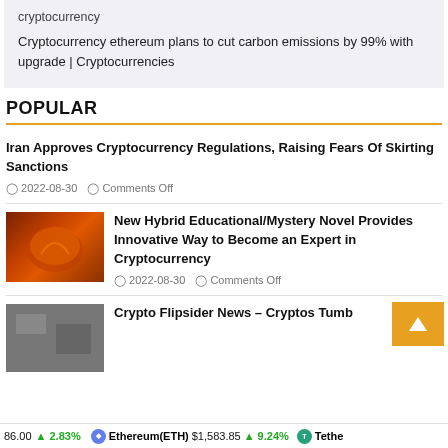cryptocurrency
Cryptocurrency ethereum plans to cut carbon emissions by 99% with upgrade | Cryptocurrencies
POPULAR
Iran Approves Cryptocurrency Regulations, Raising Fears Of Skirting Sanctions
2022-08-30   Comments Off
[Figure (photo): Orange colored cryptocurrency coin/token close-up photo]
New Hybrid Educational/Mystery Novel Provides Innovative Way to Become an Expert in Cryptocurrency
2022-08-30   Comments Off
[Figure (photo): Partially visible thumbnail image, dark/grey tones]
Crypto Flipsider News – Cryptos Tumb
86.00  ↑ 2.83%   Ethereum(ETH) $1,583.85 ↑ 9.24%   Tethe